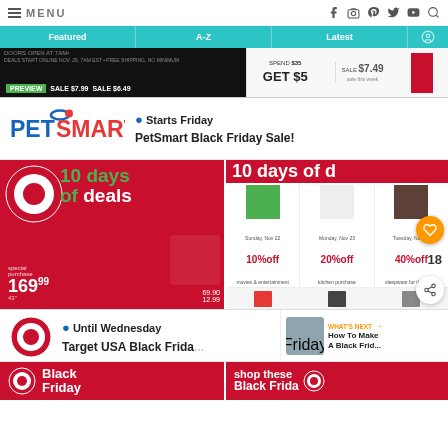MENU
[Figure (screenshot): Navigation bar with Featured, A-Z, Latest tabs on teal background]
[Figure (screenshot): Preview strip showing PREVIEW badge, SALE $7.99, SALE $6.49, SPEND $35 GET $5, SALE $7.49]
[Figure (screenshot): PetSmart logo with Starts Friday - PetSmart Black Friday Sale! listing card]
[Figure (screenshot): Target 10 days of deals ad - left panel with bullseye logo, right panel 10 days of d... with 10%off, 20%off, 40%off deals grid]
Until Wednesday Target USA Black Friday...
WHAT'S NEXT → How To Make A Black Frid...
[Figure (screenshot): Bottom strip showing Black Friday and shop these Target ads]